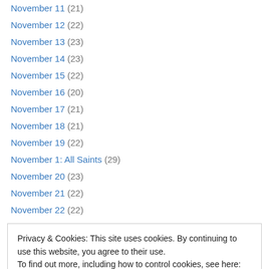November 11 (21)
November 12 (22)
November 13 (23)
November 14 (23)
November 15 (22)
November 16 (20)
November 17 (21)
November 18 (21)
November 19 (22)
November 1: All Saints (29)
November 20 (23)
November 21 (22)
November 22 (22)
Privacy & Cookies: This site uses cookies. By continuing to use this website, you agree to their use. To find out more, including how to control cookies, see here: Cookie Policy
November 29 (18)